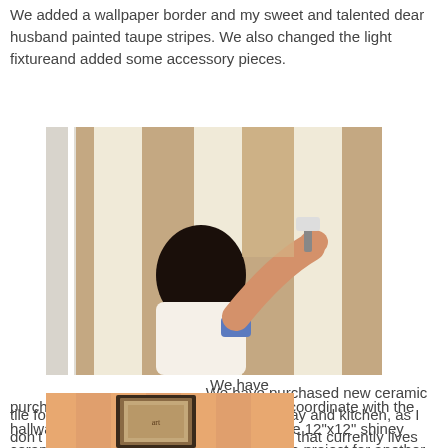We added a wallpaper border and my sweet and talented dear husband painted taupe stripes. We also changed the light fixtureand added some accessory pieces.
[Figure (photo): A man painting taupe vertical stripes on a wall using a paint roller. The wall shows alternating taupe and white/cream vertical stripes. A white door frame is visible on the left.]
We have purchased new ceramic tile for in there to coordinate with the hallway and kitchen, as I don't like the white 12"x12" shiney ceramic that currently lives there. THAT is a project for another day!
[Figure (photo): Interior room view showing a framed artwork/print hanging on a wall with warm orange/peach tones.]